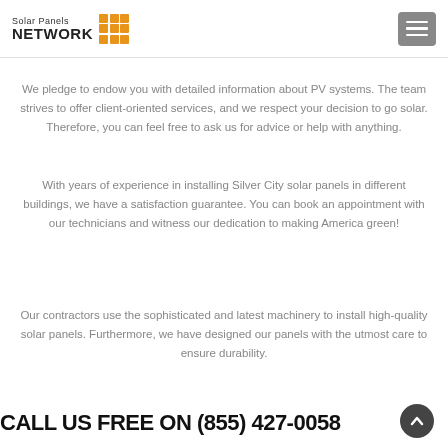Solar Panels NETWORK
We pledge to endow you with detailed information about PV systems. The team strives to offer client-oriented services, and we respect your decision to go solar. Therefore, you can feel free to ask us for advice or help with anything.
With years of experience in installing Silver City solar panels in different buildings, we have a satisfaction guarantee. You can book an appointment with our technicians and witness our dedication to making America green!
Our contractors use the sophisticated and latest machinery to install high-quality solar panels. Furthermore, we have designed our panels with the utmost care to ensure durability.
CALL US FREE ON (855) 427-0058